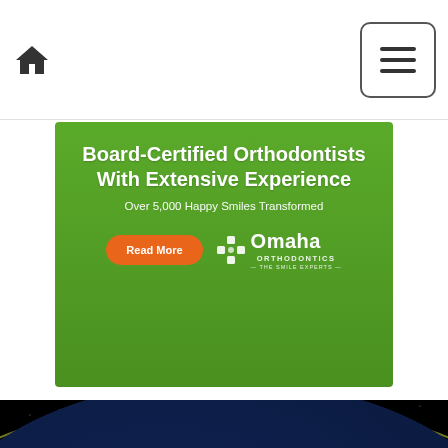Home icon and hamburger menu navigation
[Figure (infographic): Green advertisement banner for Omaha Orthodontics: 'Board-Certified Orthodontists With Extensive Experience. Over 5,000 Happy Smiles Transformed.' with a Read More button and Omaha Orthodontics logo]
[Figure (photo): Aerial/satellite photograph of Earth from space showing city lights at night across Europe and the Mediterranean, with the curve of Earth visible against black space and a thin atmosphere line]